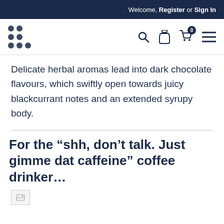Welcome, Register or Sign In
[Figure (logo): Dot grid logo (3x3 dots) and navigation icons: search, milk bottle, cart (0), hamburger menu]
Delicate herbal aromas lead into dark chocolate flavours, which swiftly open towards juicy blackcurrant notes and an extended syrupy body.
For the “shh, don’t talk. Just gimme dat caffeine” coffee drinker...
[Figure (photo): Broken/missing image placeholder]